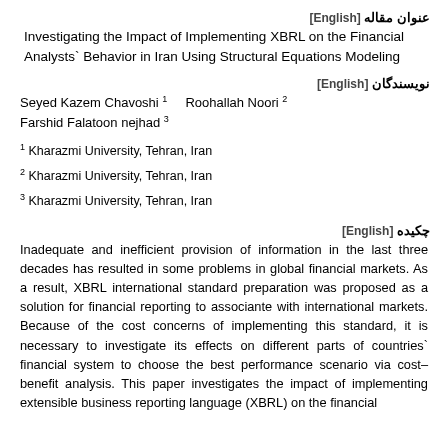عنوان مقاله [English]
Investigating the Impact of Implementing XBRL on the Financial Analysts` Behavior in Iran Using Structural Equations Modeling
نویسندگان [English]
Seyed Kazem Chavoshi 1   Roohallah Noori 2   Farshid Falatoon nejhad 3
1 Kharazmi University, Tehran, Iran
2 Kharazmi University, Tehran, Iran
3 Kharazmi University, Tehran, Iran
چکیده [English]
Inadequate and inefficient provision of information in the last three decades has resulted in some problems in global financial markets. As a result, XBRL international standard preparation was proposed as a solution for financial reporting to associante with international markets. Because of the cost concerns of implementing this standard, it is necessary to investigate its effects on different parts of countries` financial system to choose the best performance scenario via cost–benefit analysis. This paper investigates the impact of implementing extensible business reporting language (XBRL) on the financial